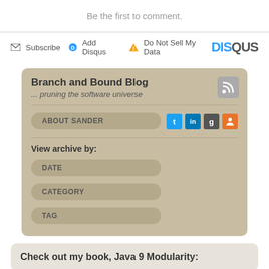Be the first to comment.
Subscribe  Add Disqus  Do Not Sell My Data  DISQUS
Branch and Bound Blog
... pruning the software universe
ABOUT SANDER
View archive by:
DATE
CATEGORY
TAG
Check out my book, Java 9 Modularity: